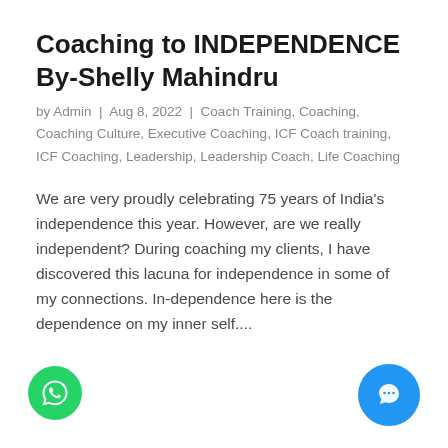Coaching to INDEPENDENCE By-Shelly Mahindru
by Admin | Aug 8, 2022 | Coach Training, Coaching, Coaching Culture, Executive Coaching, ICF Coach training, ICF Coaching, Leadership, Leadership Coach, Life Coaching
We are very proudly celebrating 75 years of India's independence this year. However, are we really independent? During coaching my clients, I have discovered this lacuna for independence in some of my connections. In-dependence here is the dependence on my inner self....